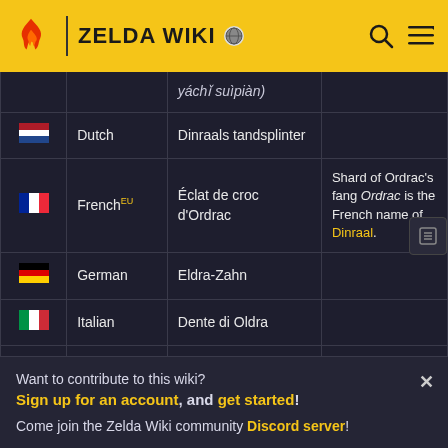ZELDA WIKI
| Flag | Language | Name | Notes |
| --- | --- | --- | --- |
|  |  | yáchǐ suìpiàn) |  |
| 🇳🇱 | Dutch | Dinraals tandsplinter |  |
| 🇫🇷 | French EU | Éclat de croc d'Ordrac | Shard of Ordrac's fang Ordrac is the French name of Dinraal. |
| 🇩🇪 | German | Eldra-Zahn |  |
| 🇮🇹 | Italian | Dente di Oldra |  |
| 🇰🇷 | Korean |  |  |
Want to contribute to this wiki? Sign up for an account, and get started! Come join the Zelda Wiki community Discord server!